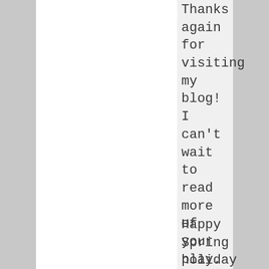Thanks again for visiting my blog! I can't wait to read more of your play. Maybe I should also see it live if I ever in the UK again.
Happy Spring holiday to you too! I hope UK